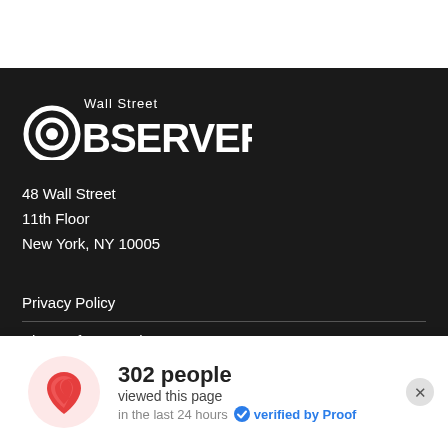[Figure (logo): Wall Street Observer logo — circular eye icon with 'Wall Street' above and 'BSERVER' to the right in large white letters on dark background]
48 Wall Street
11th Floor
New York, NY 10005
Privacy Policy
Sign up for Text Alerts
[Figure (infographic): Proof social proof widget: flame icon on pink circle background, '302 people viewed this page in the last 24 hours · verified by Proof' with blue checkmark and close button]